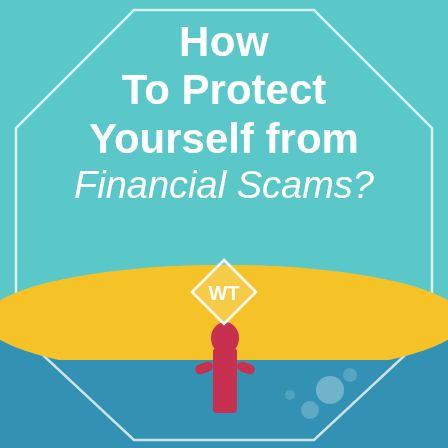[Figure (illustration): Book or article cover page with teal background, white octagon outline, large white title text 'How To Protect Yourself from Financial Scams?', a yellow brushstroke arc in the lower portion, a small diamond-shaped WT logo in white, and a person partially submerged in blue water at the bottom.]
How To Protect Yourself from Financial Scams?